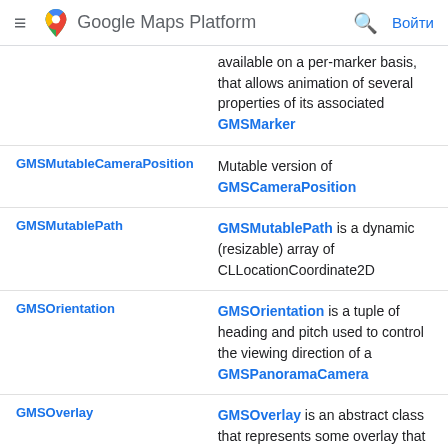Google Maps Platform — Войти
| Class | Description |
| --- | --- |
| (partial top row) | available on a per-marker basis, that allows animation of several properties of its associated GMSMarker |
| GMSMutableCameraPosition | Mutable version of GMSCameraPosition |
| GMSMutablePath | GMSMutablePath is a dynamic (resizable) array of CLLocationCoordinate2D |
| GMSOrientation | GMSOrientation is a tuple of heading and pitch used to control the viewing direction of a GMSPanoramaCamera |
| GMSOverlay | GMSOverlay is an abstract class that represents some overlay that may be attached to a specific GMSMapView |